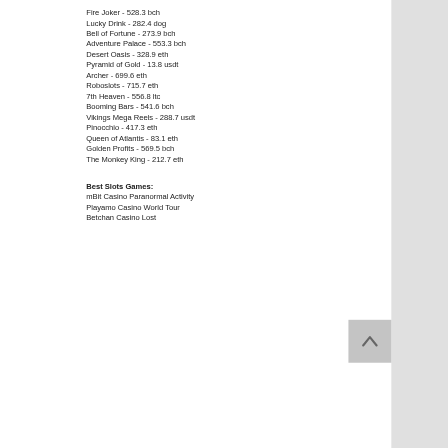Fire Joker - 528.3 bch
Lucky Drink - 282.4 dog
Bell of Fortune - 273.9 bch
Adventure Palace - 553.3 bch
Desert Oasis - 328.9 eth
Pyramid of Gold - 13.8 usdt
Archer - 699.6 eth
Roboslots - 715.7 eth
7th Heaven - 556.8 ltc
Booming Bars - 541.6 bch
Vikings Mega Reels - 288.7 usdt
Pinocchio - 417.3 eth
Queen of Atlantis - 83.1 eth
Golden Profits - 569.5 bch
The Monkey King - 212.7 eth
Best Slots Games:
mBit Casino Paranormal Activity
Playamo Casino World Tour
Betchan Casino Lost